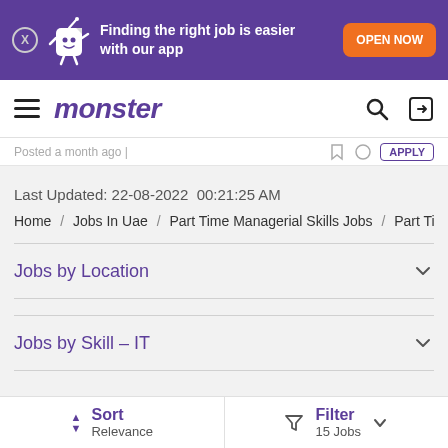Finding the right job is easier with our app  OPEN NOW
monster
Last Updated: 22-08-2022  00:21:25 AM
Home / Jobs In Uae / Part Time Managerial Skills Jobs / Part Ti ...
Jobs by Location
Jobs by Skill – IT
Sort Relevance   Filter 15 Jobs